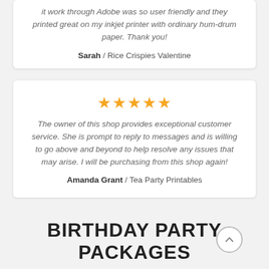it work through Adobe was so user friendly and they printed great on my inkjet printer with ordinary hum-drum paper. Thank you!
Sarah / Rice Crispies Valentine
[Figure (other): 5 orange star rating icons]
The owner of this shop provides exceptional customer service. She is prompt to reply to messages and is willing to go above and beyond to help resolve any issues that may arise. I will be purchasing from this shop again!
Amanda Grant / Tea Party Printables
BIRTHDAY PARTY PACKAGES